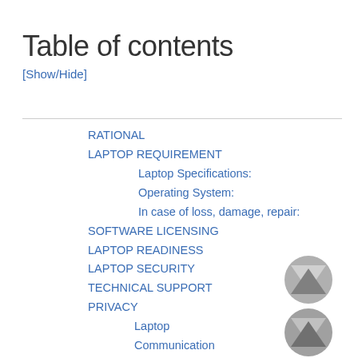Table of contents
[Show/Hide]
RATIONAL
LAPTOP REQUIREMENT
Laptop Specifications:
Operating System:
In case of loss, damage, repair:
SOFTWARE LICENSING
LAPTOP READINESS
LAPTOP SECURITY
TECHNICAL SUPPORT
PRIVACY
Laptop
Communication
Monitoring
[Figure (illustration): Two overlapping hourglass/scroll icons in gray, stacked vertically]